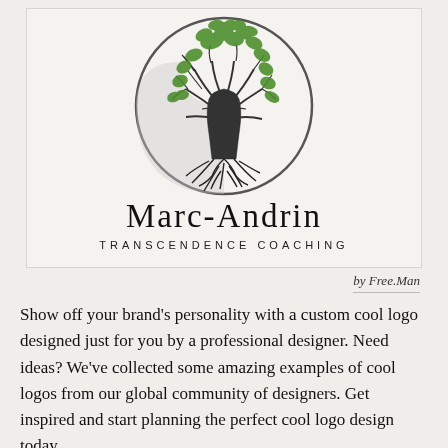[Figure (logo): Marc-Andrin Transcendence Coaching logo: a tree with green leaves inside a circular yin-yang style globe, with detailed roots below, black and white illustration]
Marc-Andrin
Transcendence Coaching
by Free.Man
Show off your brand's personality with a custom cool logo designed just for you by a professional designer. Need ideas? We've collected some amazing examples of cool logos from our global community of designers. Get inspired and start planning the perfect cool logo design today.